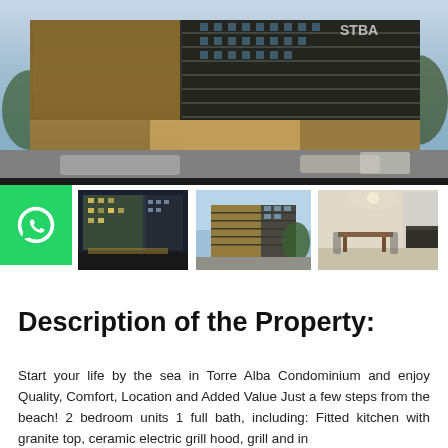[Figure (photo): Exterior photo of Torre Alba Condominium building, a modern multi-story residential/commercial building with decorative facade, ground-level retail, and vehicles passing in front, taken at dusk.]
[Figure (photo): WhatsApp contact button (green square with phone icon)]
[Figure (photo): Thumbnail 1: nighttime exterior view of Torre Alba Condominium building]
[Figure (photo): Thumbnail 2: daytime exterior view of Torre Alba Condominium building from a different angle]
[Figure (photo): Thumbnail 3: interior view showing a modern kitchen/dining area]
Description of the Property:
Start your life by the sea in Torre Alba Condominium and enjoy Quality, Comfort, Location and Added Value Just a few steps from the beach! 2 bedroom units 1 full bath, including: Fitted kitchen with granite top, ceramic electric grill hood, grill and in